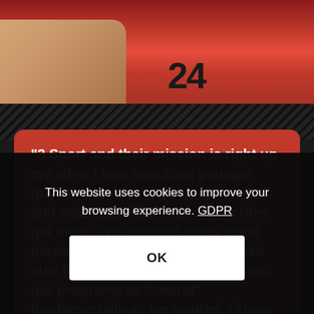[Figure (photo): Baseball player wearing a red jersey with number 24, arm visible in foreground holding something, photo cropped at top]
"3 Sport and their mission is right up my alley. I love coaching younger guys the insides of playing baseball and watching them improve as they get older. I've coached many great players over the years, but I've had also had many that didn't come into our programs as “sound” fundamentally as we wanted. I know our target at 3 Sport is the younger generations but if a high school player or even a high
This website uses cookies to improve your browsing experience. GDPR
OK